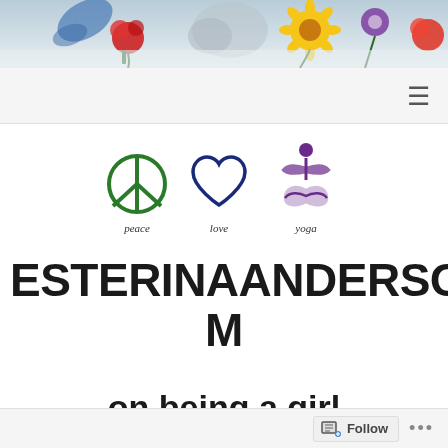[Figure (photo): Decorative floral banner header with colorful flowers (roses, sunflowers, daisies) on a light blue/grey background]
[Figure (logo): Peace Love Yoga logo with three icons: green peace symbol labeled 'peace', blue heart outline labeled 'love', purple yoga figure with infinity symbol labeled 'yoga']
ESTERINAANDERSON.COM
on being a girl
Follow ...